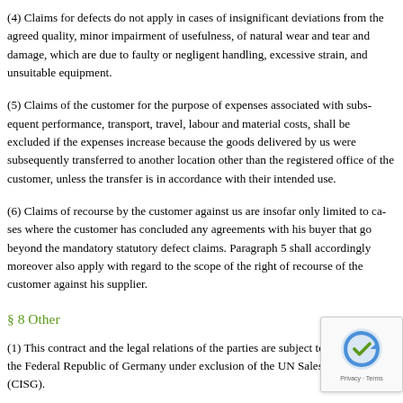(4) Claims for defects do not apply in cases of insignificant deviations from the agreed quality, minor impairment of usefulness, of natural wear and tear and damage, which are due to faulty or negligent handling, excessive strain, and unsuitable equipment.
(5) Claims of the customer for the purpose of expenses associated with subsequent performance, transport, travel, labour and material costs, shall be excluded if the expenses increase because the goods delivered by us were subsequently transferred to another location other than the registered office of the customer, unless the transfer is in accordance with their intended use.
(6) Claims of recourse by the customer against us are insofar only limited to cases where the customer has not concluded any agreements with his buyer that go beyond the mandatory statutory defect claims. Paragraph 5 shall accordingly moreover also apply with regard to the scope of the right of recourse of the customer against his supplier.
§ 8 Other
(1) This contract and the legal relations of the parties are subject to the laws of the Federal Republic of Germany under exclusion of the UN Sales Convention (CISG).
(2) Place of performance and exclusive place of jurisdiction for all disputes arising from this contract is our registered office, unless stated otherwise in the order confirmation.
(3) All agreements made between the parties for the purpose of performing th